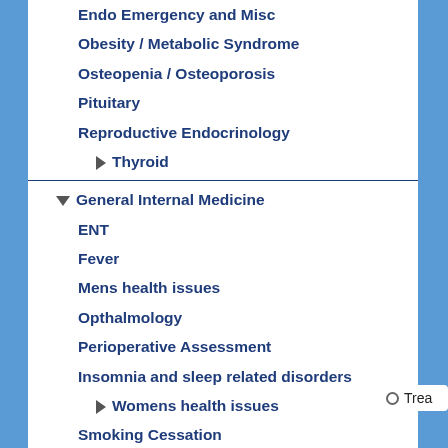Endo Emergency and Misc
Obesity / Metabolic Syndrome
Osteopenia / Osteoporosis
Pituitary
Reproductive Endocrinology
Thyroid
General Internal Medicine
ENT
Fever
Mens health issues
Opthalmology
Perioperative Assessment
Insomnia and sleep related disorders
Womens health issues
Smoking Cessation
Weight Loss
Misc
Nausea and Vomiting
Pain Management
Trea